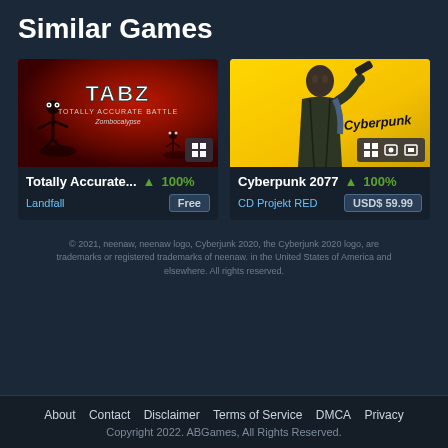Similar Games
[Figure (screenshot): Game card for Totally Accurate Battle Zombocalypse (TABZ) with red background and zombie game art]
Totally Accurate... ▲ 100%
Landfall    Free
[Figure (screenshot): Game card for Cyberpunk 2077 with yellow background and character art holding a gun]
Cyberpunk 2077 ▲ 100%
CD Projekt RED    USD$ 59.99
© 2021, neenaw, neenaw logo, Cyberjunk 2020, the Cyberjunk 2020 logo, are trademarks or registered trademarks of neenaw. in the United States of America and elsewhere. All rights reserved.
About  Contact  Disclaimer  Terms of Service  DMCA  Privacy
Copyright 2022. ABGames, All Rights Reserved.